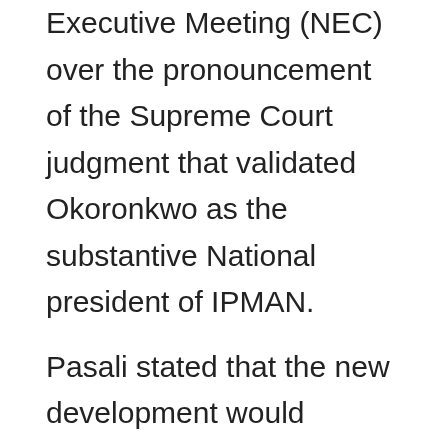Executive Meeting (NEC) over the pronouncement of the Supreme Court judgment that validated Okoronkwo as the substantive National president of IPMAN.

Pasali stated that the new development would address the issues of misconduct and mismanagement, which they say, is currently rocking the association.

It would be recalled that Okoronkwo won at the High Court, Appeal Court and Supreme Court judgment against Mr Lawson Obasi